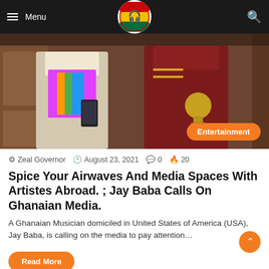Menu | [Logo] | [Search]
[Figure (photo): Two people in colorful traditional and casual attire holding awards/trophies, with an Entertainment badge overlay in the bottom right corner]
Zeal Governor   August 23, 2021   0   20
Spice Your Airwaves And Media Spaces With Artistes Abroad. ; Jay Baba Calls On Ghanaian Media.
A Ghanaian Musician domiciled in United States of America (USA), Jay Baba, is calling on the media to pay attention…